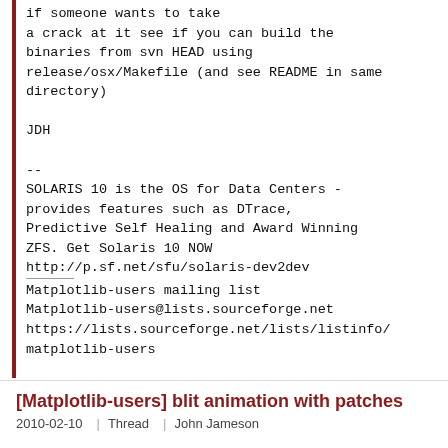if someone wants to take
a crack at it see if you can build the
binaries from svn HEAD using
release/osx/Makefile (and see README in same
directory)

JDH

--
SOLARIS 10 is the OS for Data Centers -
provides features such as DTrace,
Predictive Self Healing and Award Winning
ZFS. Get Solaris 10 NOW
http://p.sf.net/sfu/solaris-dev2dev

___
Matplotlib-users mailing list
Matplotlib-users@lists.sourceforge.net
https://lists.sourceforge.net/lists/listinfo/
matplotlib-users
[Matplotlib-users] blit animation with patches
2010-02-10  |  Thread  |  John Jameson